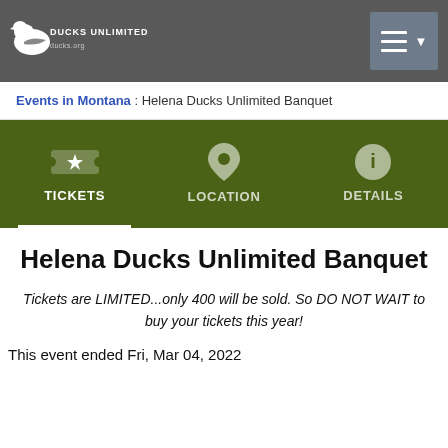[Figure (logo): Ducks Unlimited logo — white duck silhouette and text 'Ducks Unlimited' on dark gray navbar]
Navigation bar with Ducks Unlimited logo and hamburger menu
Events in Montana : Helena Ducks Unlimited Banquet
[Figure (infographic): Green tab bar with three tabs: TICKETS (active, with star-ticket icon), LOCATION (with map pin icon), DETAILS (with info icon)]
Helena Ducks Unlimited Banquet
Tickets are LIMITED...only 400 will be sold. So DO NOT WAIT to buy your tickets this year!
This event ended Fri, Mar 04, 2022